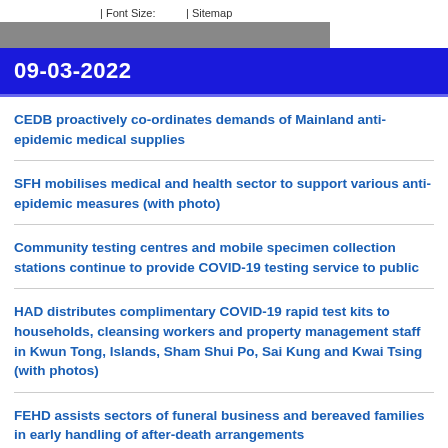| Font Size:    | Sitemap
09-03-2022
CEDB proactively co-ordinates demands of Mainland anti-epidemic medical supplies
SFH mobilises medical and health sector to support various anti-epidemic measures (with photo)
Community testing centres and mobile specimen collection stations continue to provide COVID-19 testing service to public
HAD distributes complimentary COVID-19 rapid test kits to households, cleansing workers and property management staff in Kwun Tong, Islands, Sham Shui Po, Sai Kung and Kwai Tsing (with photos)
FEHD assists sectors of funeral business and bereaved families in early handling of after-death arrangements